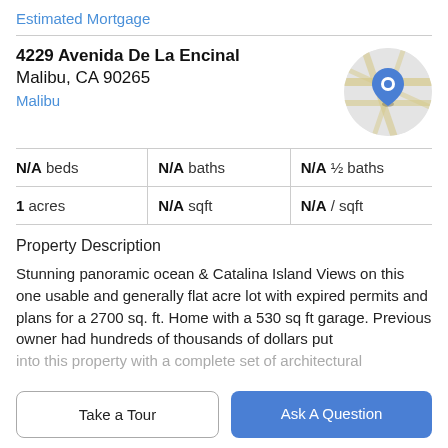Estimated Mortgage
4229 Avenida De La Encinal
Malibu, CA 90265
Malibu
[Figure (map): Circular map thumbnail showing a Google Maps-style road map with a blue location pin marker in the center, roads shown in yellow/beige on gray background.]
| N/A beds | N/A baths | N/A ½ baths |
| 1 acres | N/A sqft | N/A / sqft |
Property Description
Stunning panoramic ocean & Catalina Island Views on this one usable and generally flat acre lot with expired permits and plans for a 2700 sq. ft. Home with a 530 sq ft garage. Previous owner had hundreds of thousands of dollars put
into this property with a complete set of architectural
Take a Tour
Ask A Question